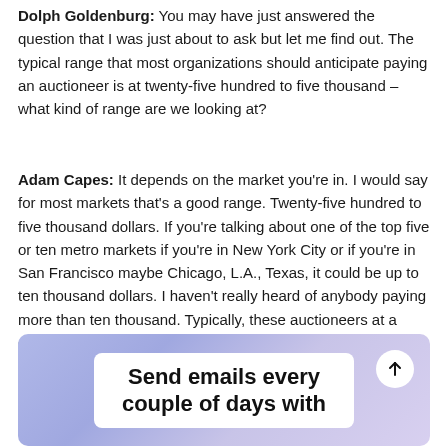Dolph Goldenburg: You may have just answered the question that I was just about to ask but let me find out. The typical range that most organizations should anticipate paying an auctioneer is at twenty-five hundred to five thousand – what kind of range are we looking at?
Adam Capes: It depends on the market you're in. I would say for most markets that's a good range. Twenty-five hundred to five thousand dollars. If you're talking about one of the top five or ten metro markets if you're in New York City or if you're in San Francisco maybe Chicago, L.A., Texas, it could be up to ten thousand dollars. I haven't really heard of anybody paying more than ten thousand. Typically, these auctioneers at a good event can make a difference of six figures or more...
[Figure (screenshot): A card/banner with gradient purple-blue background and white rounded card inside showing bold text 'Send emails every couple of days with' and an upward arrow button in top right corner.]